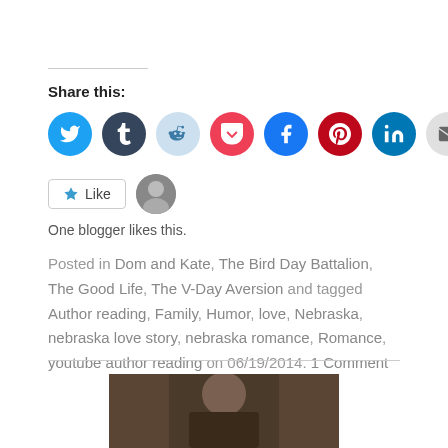Share this:
[Figure (infographic): Row of social media share buttons: Twitter (blue), Tumblr (dark blue), Reddit (light blue), Pocket (red), Facebook (blue), Pinterest (red), LinkedIn (blue), Email (gray), Telegram (blue)]
[Figure (infographic): Like button with star icon and 'Like' text, followed by a small avatar photo of a blogger]
One blogger likes this.
Posted in Dom and Kate, The Bird Day Battalion, The Good Life, The V-Day Aversion and tagged Author reading, Family, Humor, love, Nebraska, nebraska love story, nebraska romance, Romance, youtube author reading on 06/19/2014. 1 Comment
[Figure (photo): Partial photo of a person, appears to be an author reading video thumbnail]